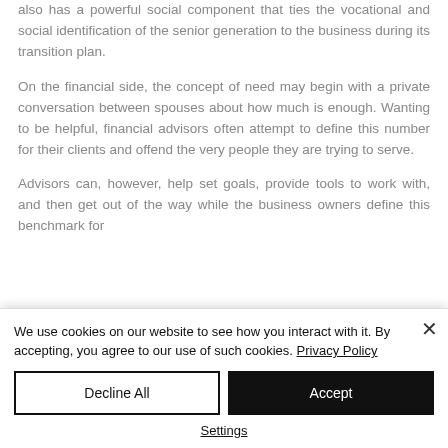also has a powerful social component that ties the vocational and social identification of the senior generation to the business during its transition plan.
On the financial side, the concept of need may begin with a private conversation between spouses about how much is enough. Wanting to be helpful, financial advisors often attempt to define this number for their clients and offend the very people they are trying to serve.
Advisors can, however, help set goals, provide tools to work with, and then get out of the way while the business owners define this benchmark for
We use cookies on our website to see how you interact with it. By accepting, you agree to our use of such cookies. Privacy Policy
Decline All
Accept
Settings